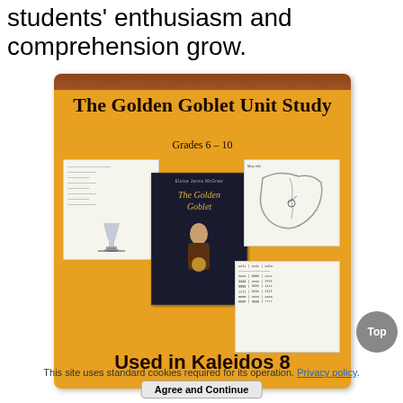students' enthusiasm and comprehension grow.
[Figure (photo): Book cover image for 'The Golden Goblet Unit Study, Grades 6-10' showing the book cover, worksheets, a map, and a table, with text 'Used in Kaleidos 8' at the bottom on an orange background.]
This site uses standard cookies required for its operation. Privacy policy.
Agree and Continue